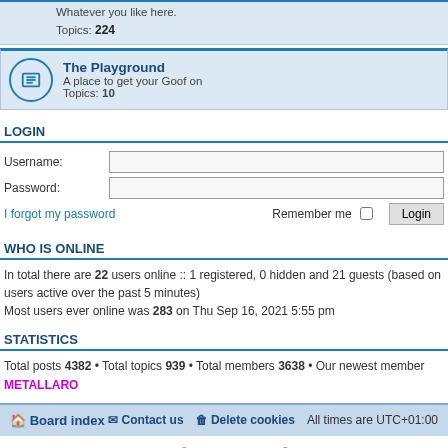Topics: 224
The Playground
A place to get your Goof on
Topics: 10
LOGIN
Username:
Password:
I forgot my password
Remember me
WHO IS ONLINE
In total there are 22 users online :: 1 registered, 0 hidden and 21 guests (based on users active over the past 5 minutes)
Most users ever online was 283 on Thu Sep 16, 2021 5:55 pm
STATISTICS
Total posts 4382 • Total topics 939 • Total members 3638 • Our newest member METALLARO
Board index | Contact us | Delete cookies | All times are UTC+01:00
Powered by phpBB® Forum Software © phpBB Limited
Privacy | Terms
cron